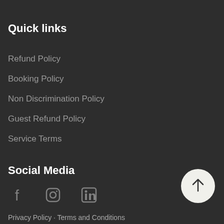Quick links
Refund Policy
Booking Policy
Non Discrimination Policy
Guest Refund Policy
Service Terms
Social Media
[Figure (other): Social media icons: Facebook, Instagram, LinkedIn]
[Figure (other): Back to top button with upward arrow]
Privacy Policy  ·  Terms and Conditions